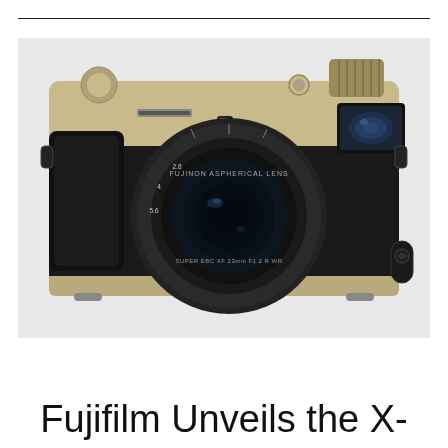[Figure (photo): Fujifilm X-Pro3 mirrorless camera, front view, champagne gold and black colorway with Fujinon Aspherical Lens attached, shown against a light gray background.]
Fujifilm Unveils the X-